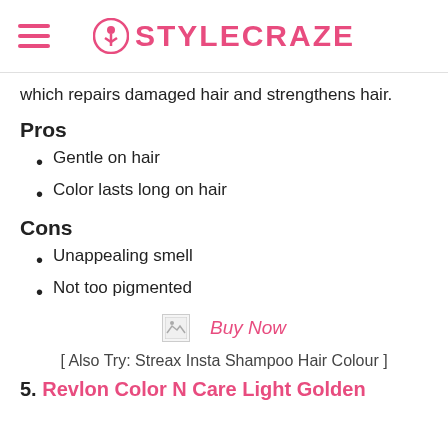STYLECRAZE
which repairs damaged hair and strengthens hair.
Pros
Gentle on hair
Color lasts long on hair
Cons
Unappealing smell
Not too pigmented
Buy Now
[ Also Try: Streax Insta Shampoo Hair Colour ]
5. Revlon Color N Care Light Golden